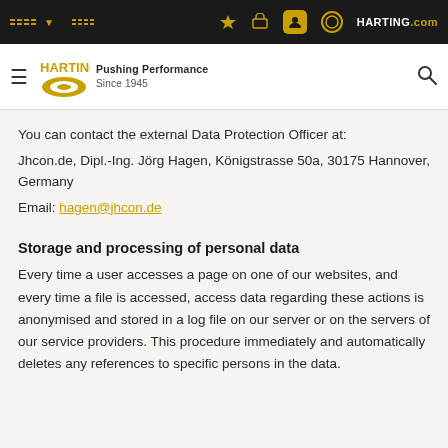HARTING Pushing Performance Since 1945 — Navigation bar
You can contact the external Data Protection Officer at: Jhcon.de, Dipl.-Ing. Jörg Hagen, Königstrasse 50a, 30175 Hannover, Germany
Email: hagen@jhcon.de
Storage and processing of personal data
Every time a user accesses a page on one of our websites, and every time a file is accessed, access data regarding these actions is anonymised and stored in a log file on our server or on the servers of our service providers. This procedure immediately and automatically deletes any references to specific persons in the data.